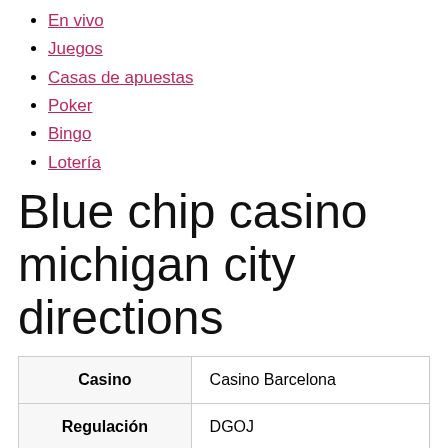En vivo
Juegos
Casas de apuestas
Poker
Bingo
Lotería
Blue chip casino michigan city directions
| Casino | Casino Barcelona |
| --- | --- |
| Regulación | DGOJ |
| Calificación | 5 / 3 |